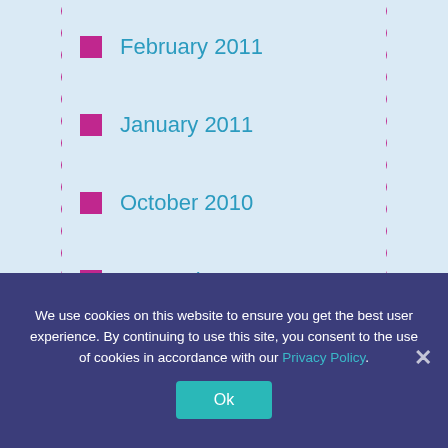February 2011
January 2011
October 2010
September 2010
August 2010
June 2010
May 2010
March 2010
February 2010
January 2010
We use cookies on this website to ensure you get the best user experience. By continuing to use this site, you consent to the use of cookies in accordance with our Privacy Policy.